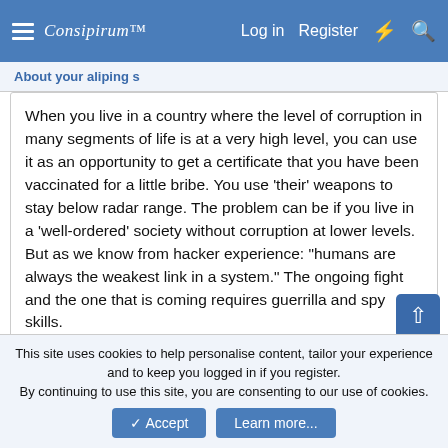Consipirum™ [logo] | Log in  Register
About your aliping s
When you live in a country where the level of corruption in many segments of life is at a very high level, you can use it as an opportunity to get a certificate that you have been vaccinated for a little bribe. You use 'their' weapons to stay below radar range. The problem can be if you live in a 'well-ordered' society without corruption at lower levels. But as we know from hacker experience: "humans are always the weakest link in a system." The ongoing fight and the one that is coming requires guerrilla and spy skills.
Not sure about gorilla and spy skills. That would take a lot of people out prematurely.
This site uses cookies to help personalise content, tailor your experience and to keep you logged in if you register.
By continuing to use this site, you are consenting to our use of cookies.